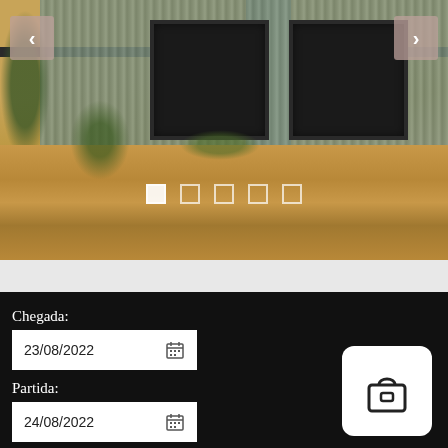[Figure (photo): Property photo showing metal corrugated cladding facade with dark-framed windows at top, stone retaining wall below, vegetation, with navigation arrows and carousel dots overlay. Left arrow '<' and right arrow '>' visible on pink/dusty rose background buttons.]
Chegada:
23/08/2022
Partida:
24/08/2022